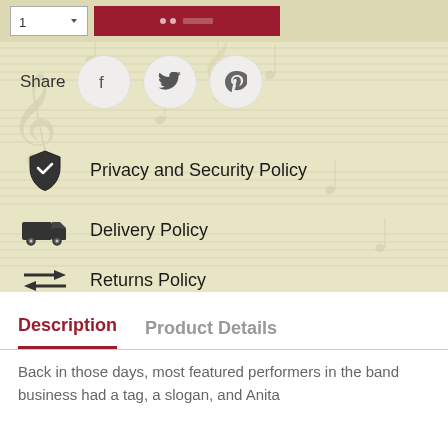[Figure (screenshot): Top bar with quantity selector and red Add to Cart button]
[Figure (infographic): Share row with Facebook, Twitter, and Pinterest social circle icons]
Privacy and Security Policy
Delivery Policy
Returns Policy
Description
Product Details
Back in those days, most featured performers in the band business had a tag, a slogan, and Anita